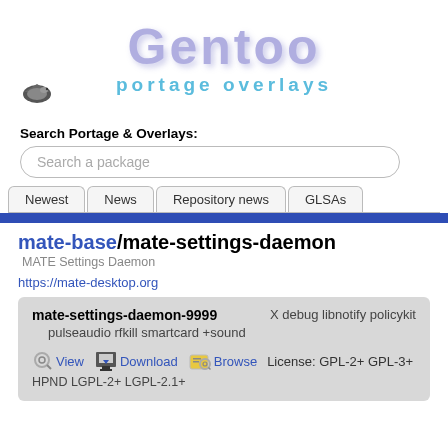[Figure (logo): Gentoo Portage Overlays logo with stylized purple text and blue 'portage overlays' subtitle, with a small bird/dragon mascot]
Search Portage & Overlays:
Search a package
Newest | News | Repository news | GLSAs
mate-base/mate-settings-daemon
MATE Settings Daemon
https://mate-desktop.org
mate-settings-daemon-9999 X debug libnotify policykit pulseaudio rfkill smartcard +sound
View Download Browse License: GPL-2+ GPL-3+ HPND LGPL-2+ LGPL-2.1+